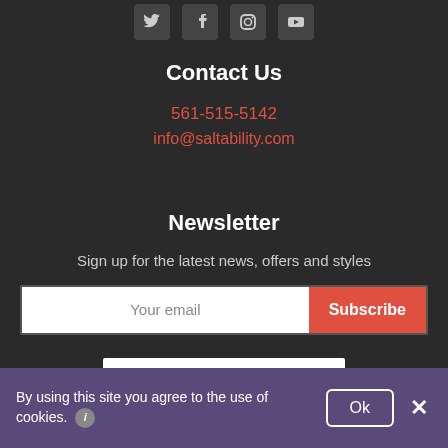[Figure (other): Social media icons: Twitter, Facebook, Instagram, YouTube]
Contact Us
561-515-5142
info@saltability.com
Newsletter
Sign up for the latest news, offers and styles
[Figure (other): Email input field with Subscribe button]
[Figure (logo): Global Wellness Institute logo with colored pinwheel icon]
By using this site you agree to the use of cookies.